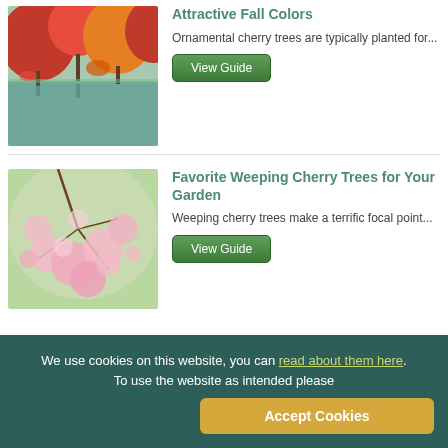Attractive Fall Colors
Ornamental cherry trees are typically planted for...
[Figure (photo): Autumn trees with red/orange foliage reflected in a calm lake]
View Guide
Favorite Weeping Cherry Trees for Your Garden
Weeping cherry trees make a terrific focal point...
[Figure (photo): Pink weeping cherry blossoms close-up with soft green background]
View Guide
We use cookies on this website, you can read about them here. To use the website as intended please
Accept Cookies